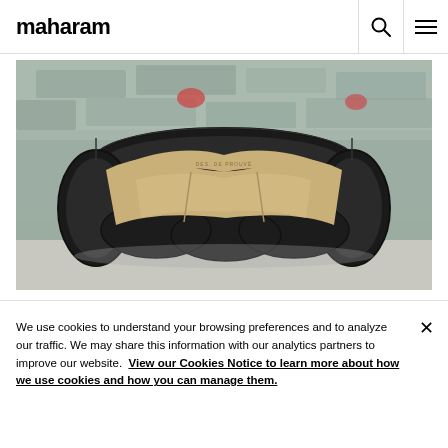maharam
[Figure (photo): A sofa made from stacked black rubber tires with beige/tan cushioning, photographed against a rough stone/brick wall background]
De...
We use cookies to understand your browsing preferences and to analyze our traffic. We may share this information with our analytics partners to improve our website. View our Cookies Notice to learn more about how we use cookies and how you can manage them.